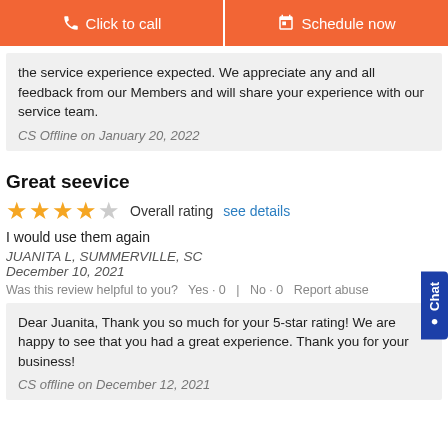[Figure (other): Two orange call-to-action buttons: 'Click to call' with phone icon and 'Schedule now' with calendar icon]
the service experience expected. We appreciate any and all feedback from our Members and will share your experience with our service team.
CS Offline on January 20, 2022
Great seevice
[Figure (other): Four yellow stars overall rating]
I would use them again
JUANITA L, SUMMERVILLE, SC
December 10, 2021
Was this review helpful to you?  Yes · 0  |  No · 0  Report abuse
Dear Juanita, Thank you so much for your 5-star rating! We are happy to see that you had a great experience. Thank you for your business!
CS offline on December 12, 2021